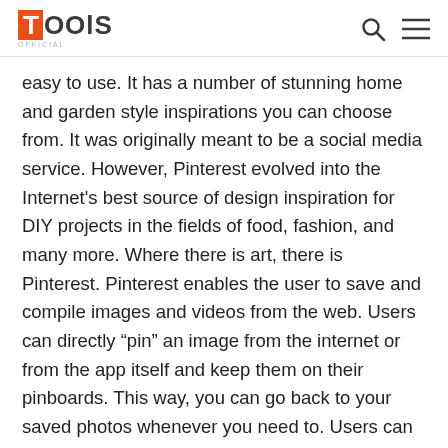TOOLS OFFICIAL
easy to use. It has a number of stunning home and garden style inspirations you can choose from. It was originally meant to be a social media service. However, Pinterest evolved into the Internet's best source of design inspiration for DIY projects in the fields of food, fashion, and many more. Where there is art, there is Pinterest. Pinterest enables the user to save and compile images and videos from the web. Users can directly "pin" an image from the internet or from the app itself and keep them on their pinboards. This way, you can go back to your saved photos whenever you need to. Users can also upload their images and creations, both via the app and the Pinterest website.
Download and register to Pinterest to get access to